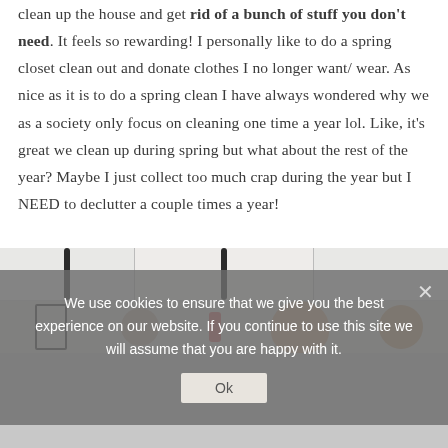clean up the house and get rid of a bunch of stuff you don't need. It feels so rewarding! I personally like to do a spring closet clean out and donate clothes I no longer want/ wear. As nice as it is to do a spring clean I have always wondered why we as a society only focus on cleaning one time a year lol. Like, it's great we clean up during spring but what about the rest of the year? Maybe I just collect too much crap during the year but I NEED to declutter a couple times a year!
[Figure (photo): Photo of a kitchen with white cabinets with black handles, and a counter with wooden cutting boards and other kitchen items.]
We use cookies to ensure that we give you the best experience on our website. If you continue to use this site we will assume that you are happy with it.